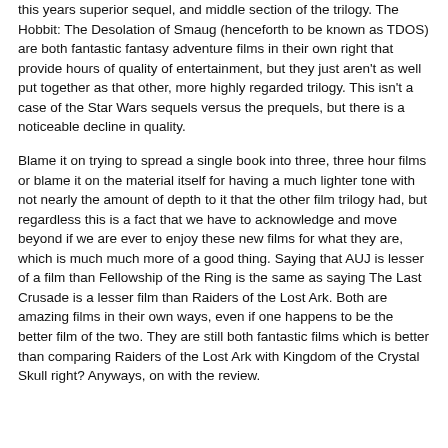this years superior sequel, and middle section of the trilogy. The Hobbit: The Desolation of Smaug (henceforth to be known as TDOS) are both fantastic fantasy adventure films in their own right that provide hours of quality of entertainment, but they just aren't as well put together as that other, more highly regarded trilogy. This isn't a case of the Star Wars sequels versus the prequels, but there is a noticeable decline in quality.
Blame it on trying to spread a single book into three, three hour films or blame it on the material itself for having a much lighter tone with not nearly the amount of depth to it that the other film trilogy had, but regardless this is a fact that we have to acknowledge and move beyond if we are ever to enjoy these new films for what they are, which is much much more of a good thing. Saying that AUJ is lesser of a film than Fellowship of the Ring is the same as saying The Last Crusade is a lesser film than Raiders of the Lost Ark. Both are amazing films in their own ways, even if one happens to be the better film of the two. They are still both fantastic films which is better than comparing Raiders of the Lost Ark with Kingdom of the Crystal Skull right? Anyways, on with the review.